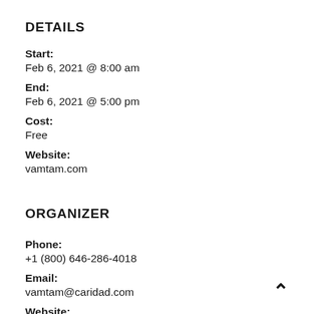DETAILS
Start:
Feb 6, 2021 @ 8:00 am
End:
Feb 6, 2021 @ 5:00 pm
Cost:
Free
Website:
vamtam.com
ORGANIZER
Phone:
+1 (800) 646-286-4018
Email:
vamtam@caridad.com
Website: